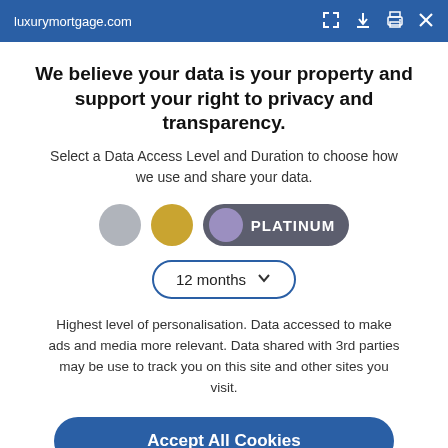luxurymortgage.com
We believe your data is your property and support your right to privacy and transparency.
Select a Data Access Level and Duration to choose how we use and share your data.
[Figure (infographic): Three data access level selector buttons: a silver circle, a gold circle, and a purple/platinum active toggle pill labeled PLATINUM]
[Figure (infographic): Duration dropdown selector showing '12 months' with a down arrow chevron, styled with a blue border rounded pill]
Highest level of personalisation. Data accessed to make ads and media more relevant. Data shared with 3rd parties may be use to track you on this site and other sites you visit.
Accept All Cookies
Customize    Privacy policy